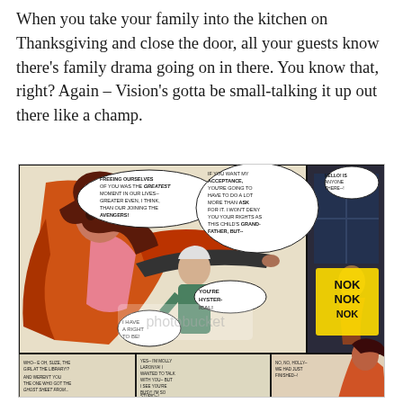When you take your family into the kitchen on Thanksgiving and close the door, all your guests know there's family drama going on in there. You know that, right? Again – Vision's gotta be small-talking it up out there like a champ.
[Figure (illustration): A vintage Marvel comic panel showing Scarlet Witch in dramatic confrontation. Speech bubbles read: 'FREEING OURSELVES OF YOU WAS THE GREATEST MOMENT IN OUR LIVES-- GREATER EVEN, I THINK, THAN OUR JOINING THE AVENGERS!', 'IF YOU WANT MY ACCEPTANCE, YOU'RE GOING TO HAVE TO DO A LOT MORE THAN ASK FOR IT. I WON'T DENY YOU YOUR RIGHTS AS THIS CHILD'S GRANDFATHER, BUT--', 'HELLO! IS ANYONE THERE--!', 'YOU'RE HYSTERICAL!', 'I HAVE A RIGHT TO BE!', 'WHO-- E OH, SUZE, THE GIRL AT THE LIBRARY!? AND WEREN'T YOU THE ONE WHO GOT THE GHOST SHEET FROM...', 'YES-- I'M MOLLY LARONYA! I WANTED TO TALK WITH YOU-- BUT I SEE YOU'RE BUSY! I'M SO STUPID--!', 'NO, NO, HOLLY-- WE HAD JUST FINISHED--!', with NOK NOK NOK sound effects in yellow]